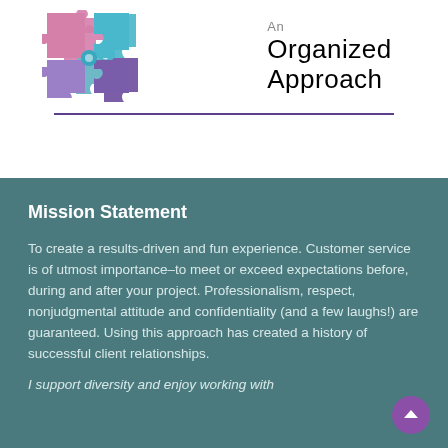[Figure (logo): An Organized Approach logo with colorful puzzle pieces (pink, purple, teal, blue) arranged together, with the company name to the right in a handwritten-style font.]
Mission Statement
To create a results-driven and fun experience. Customer service is of utmost importance–to meet or exceed expectations before, during and after your project. Professionalism, respect, nonjudgmental attitude and confidentiality (and a few laughs!) are guaranteed. Using this approach has created a history of successful client relationships.
I support diversity and enjoy working with